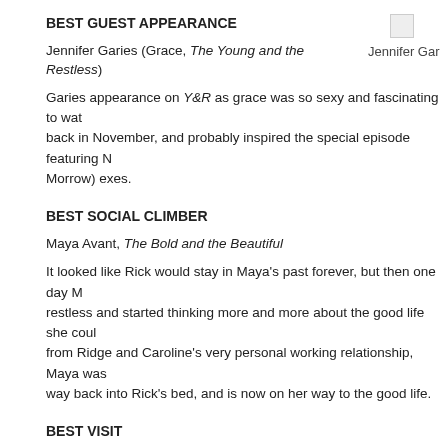BEST GUEST APPEARANCE
Jennifer Garies (Grace, The Young and the Restless)
[Figure (photo): Small broken image placeholder icon]
Jennifer Gar
Garies appearance on Y&R as grace was so sexy and fascinating to watch back in November, and probably inspired the special episode featuring N Morrow) exes.
BEST SOCIAL CLIMBER
Maya Avant, The Bold and the Beautiful
It looked like Rick would stay in Maya's past forever, but then one day Ma restless and started thinking more and more about the good life she coul from Ridge and Caroline's very personal working relationship, Maya was way back into Rick's bed, and is now on her way to the good life.
BEST VISIT
Shemar Moore (Malcolm, The Young and the Restless)
Moore's two-day return as Malcolm Winters in September not only gave added a richness to Neil's storyline.
SEXIEST MALE
Casey Moss (JJ, Days of our Lives)